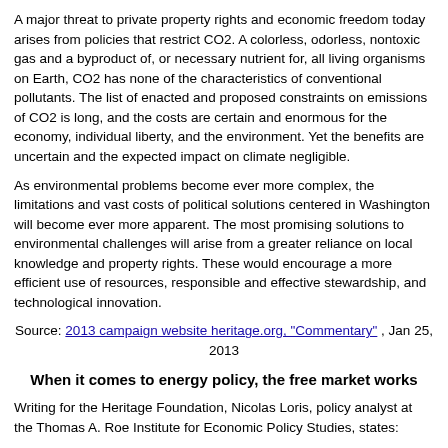A major threat to private property rights and economic freedom today arises from policies that restrict CO2. A colorless, odorless, nontoxic gas and a byproduct of, or necessary nutrient for, all living organisms on Earth, CO2 has none of the characteristics of conventional pollutants. The list of enacted and proposed constraints on emissions of CO2 is long, and the costs are certain and enormous for the economy, individual liberty, and the environment. Yet the benefits are uncertain and the expected impact on climate negligible.
As environmental problems become ever more complex, the limitations and vast costs of political solutions centered in Washington will become ever more apparent. The most promising solutions to environmental challenges will arise from a greater reliance on local knowledge and property rights. These would encourage a more efficient use of resources, responsible and effective stewardship, and technological innovation.
Source: 2013 campaign website heritage.org, "Commentary" , Jan 25, 2013
When it comes to energy policy, the free market works
Writing for the Heritage Foundation, Nicolas Loris, policy analyst at the Thomas A. Roe Institute for Economic Policy Studies, states:
"The reality is that when it comes to energy policy, the free market works. Indeed, the business environment for energy is robust despite seemingly endless forays by policymakers and bureaucrats into the energy industry. But those attempts to control energy markets do have an effect: They result in higher prices, fewer available energy sources, reduced competition, and stifled innovation.
"By attempting to force government-developed technologies into the market, the government diminishes the role of the entrepreneur and crowds out private-sector investment. Thus, almost without exception, it fails in some way."